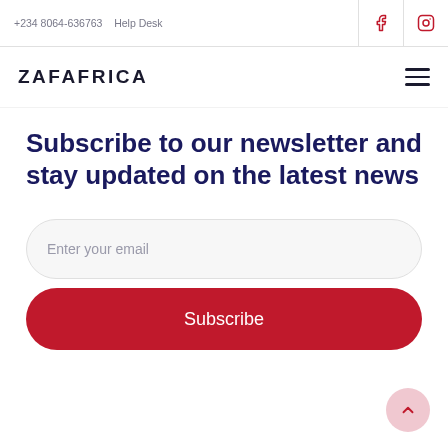+234 8064-636763   Help Desk
ZAFAFRICA
Subscribe to our newsletter and stay updated on the latest news
Enter your email
Subscribe